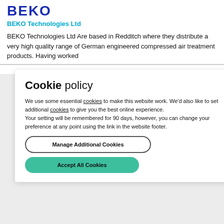[Figure (logo): BEKO logo in dark blue bold capital letters]
BEKO Technologies Ltd
BEKO Technologies Ltd Are based in Redditch where they distribute a very high quality range of German engineered compressed air treatment products. Having worked
Cookie policy
We use some essential cookies to make this website work. We'd also like to set additional cookies to give you the best online experience.
Your setting will be remembered for 90 days, however, you can change your preference at any point using the link in the website footer.
Manage Additional Cookies
Accept All Cookies